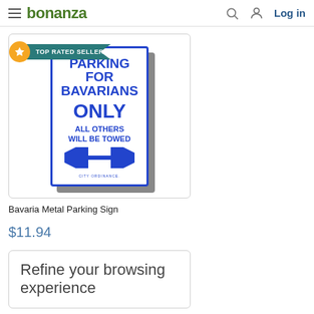bonanza | Log in
[Figure (photo): Parking sign reading PARKING FOR BAVARIANS ONLY ALL OTHERS WILL BE TOWED with double-headed arrow, labeled TOP RATED SELLER]
Bavaria Metal Parking Sign
$11.94
Refine your browsing experience